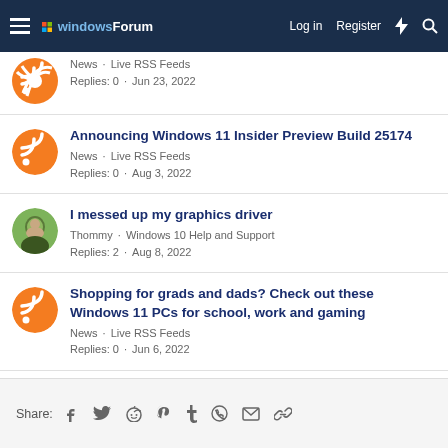windowsForum · Log in · Register
News · Live RSS Feeds
Replies: 0 · Jun 23, 2022
Announcing Windows 11 Insider Preview Build 25174
News · Live RSS Feeds
Replies: 0 · Aug 3, 2022
I messed up my graphics driver
Thommy · Windows 10 Help and Support
Replies: 2 · Aug 8, 2022
Shopping for grads and dads? Check out these Windows 11 PCs for school, work and gaming
News · Live RSS Feeds
Replies: 0 · Jun 6, 2022
Share: